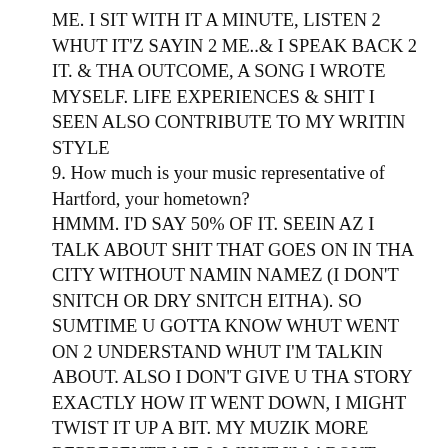ME. I SIT WITH IT A MINUTE, LISTEN 2 WHUT IT'Z SAYIN 2 ME..& I SPEAK BACK 2 IT. & THA OUTCOME, A SONG I WROTE MYSELF. LIFE EXPERIENCES & SHIT I SEEN ALSO CONTRIBUTE TO MY WRITIN STYLE
9. How much is your music representative of Hartford, your hometown?
HMMM. I'D SAY 50% OF IT. SEEIN AZ I TALK ABOUT SHIT THAT GOES ON IN THA CITY WITHOUT NAMIN NAMEZ (I DON'T SNITCH OR DRY SNITCH EITHA). SO SUMTIME U GOTTA KNOW WHUT WENT ON 2 UNDERSTAND WHUT I'M TALKIN ABOUT. ALSO I DON'T GIVE U THA STORY EXACTLY HOW IT WENT DOWN, I MIGHT TWIST IT UP A BIT. MY MUZIK MORE REPRESENTZ ME & WHUT I'M ABOUT. SHIT